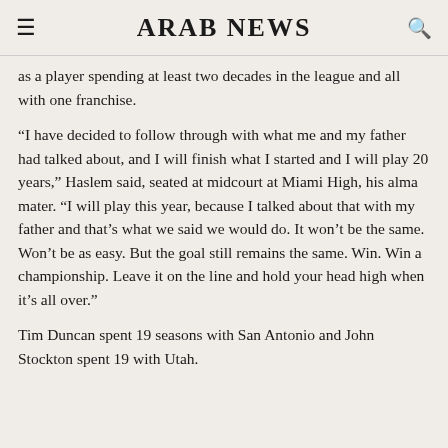ARAB NEWS
as a player spending at least two decades in the league and all with one franchise.
“I have decided to follow through with what me and my father had talked about, and I will finish what I started and I will play 20 years,” Haslem said, seated at midcourt at Miami High, his alma mater. “I will play this year, because I talked about that with my father and that’s what we said we would do. It won’t be the same. Won’t be as easy. But the goal still remains the same. Win. Win a championship. Leave it on the line and hold your head high when it’s all over.”
Tim Duncan spent 19 seasons with San Antonio and John Stockton spent 19 with Utah.